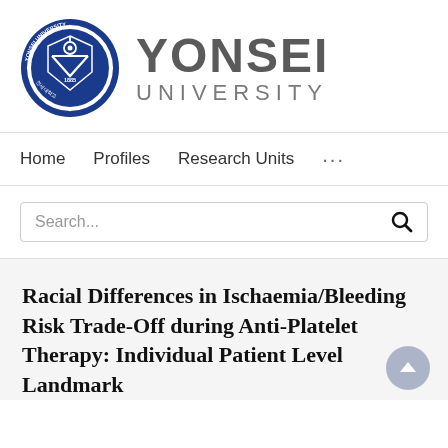[Figure (logo): Yonsei University logo: circular blue seal with shield and text 'YONSEI UNIVERSITY' wordmark in grey to the right]
Home   Profiles   Research Units   ...
Search...
Racial Differences in Ischaemia/Bleeding Risk Trade-Off during Anti-Platelet Therapy: Individual Patient Level Landmark